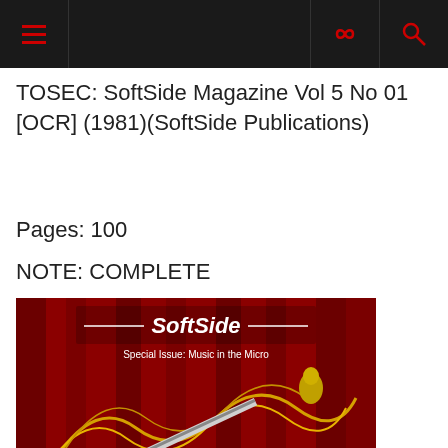Navigation bar with hamburger menu, icons
TOSEC: SoftSide Magazine Vol 5 No 01 [OCR] (1981)(SoftSide Publications)
Pages: 100
NOTE: COMPLETE
[Figure (photo): SoftSide Magazine cover showing a flute and swirling golden ribbons on a red curtain background. Title reads 'SoftSide' with 'Special Issue: Music in the Micro' and 'Flight of the Bumblebee' at the bottom.]
SoftSide Magazine
Issue: Vol 5 No 02 / 23